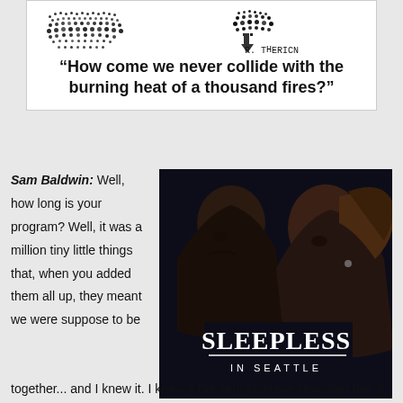[Figure (illustration): Halftone dotted illustration with two abstract face/head shapes in black and white dots, with handwritten signature 'R. THERICN' in lower right]
“How come we never collide with the burning heat of a thousand fires?”
Sam Baldwin: Well, how long is your program? Well, it was a million tiny little things that, when you added them all up, they meant we were suppose to be together...
[Figure (photo): Movie poster for Sleepless in Seattle showing a man and woman facing each other closely, with the title SLEEPLESS IN SEATTLE in bold white text at the bottom]
together... and I knew it. I knew it the very first time I touched her. It was like coming home... only to no home I'd ever known... I was just taking her hand to help her out of a car and I knew. It was like...